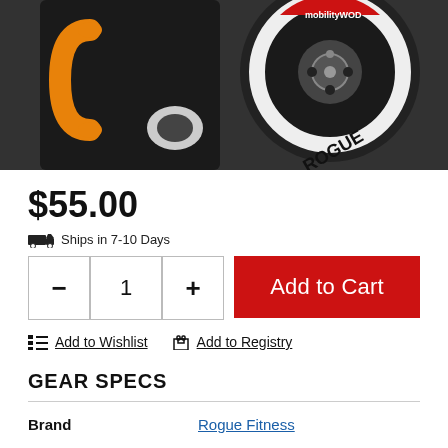[Figure (photo): Product photo showing a dark metal fitness/gym equipment piece with an orange shackle/U-bolt on the left and a Rogue-branded wheel/roller with MobilityWOD label on the right, on a dark background.]
$55.00
Ships in 7-10 Days
1
Add to Cart
Add to Wishlist
Add to Registry
GEAR SPECS
| Brand |  |
| --- | --- |
| Brand | Rogue Fitness |